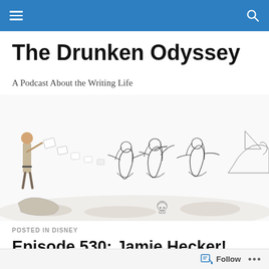The Drunken Odyssey — navigation bar
The Drunken Odyssey
A Podcast About the Writing Life
[Figure (illustration): A pen-and-ink style illustration showing a man on the left holding papers that fly toward three seated figures (sirens) in the center and right, with a ship visible in the far right background. A skull is visible at the bottom center.]
POSTED IN DISNEY
Episode 530: Jamie Hecker!
Follow